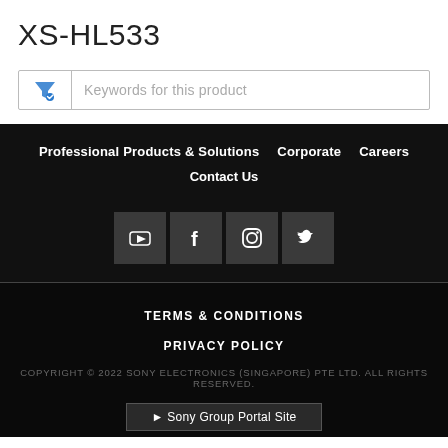XS-HL533
[Figure (screenshot): Search filter bar with funnel icon and placeholder text 'Keywords for this product']
Professional Products & Solutions   Corporate   Careers
Contact Us
[Figure (infographic): Social media icons: YouTube, Facebook, Instagram, Twitter on dark background]
TERMS & CONDITIONS
PRIVACY POLICY
COPYRIGHT © 2022 SONY ELECTRONICS (SINGAPORE) PTE LTD. ALL RIGHTS RESERVED.
► Sony Group Portal Site